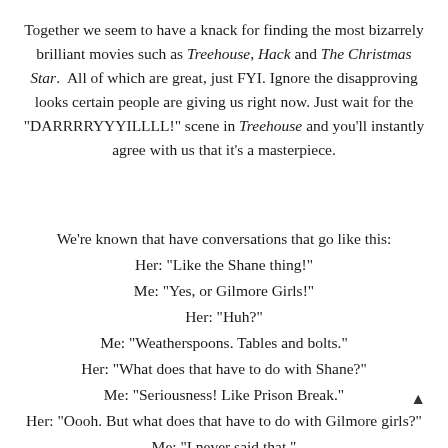Together we seem to have a knack for finding the most bizarrely brilliant movies such as Treehouse, Hack and The Christmas Star.  All of which are great, just FYI. Ignore the disapproving looks certain people are giving us right now. Just wait for the "DARRRRYYYILLLL!" scene in Treehouse and you'll instantly agree with us that it's a masterpiece.
We're known that have conversations that go like this:
Her: "Like the Shane thing!"
Me: "Yes, or Gilmore Girls!"
Her: "Huh?"
Me: "Weatherspoons. Tables and bolts."
Her: "What does that have to do with Shane?"
Me: "Seriousness! Like Prison Break."
Her: "Oooh. But what does that have to do with Gilmore girls?"
Me: "I never said that."
Her: "Yeah, you did."